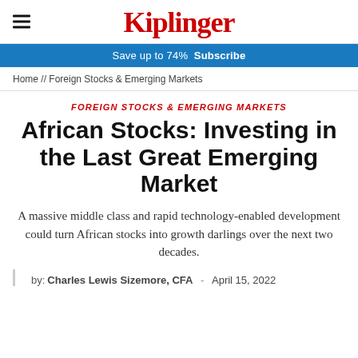Kiplinger
Save up to 74%  Subscribe
Home // Foreign Stocks & Emerging Markets
FOREIGN STOCKS & EMERGING MARKETS
African Stocks: Investing in the Last Great Emerging Market
A massive middle class and rapid technology-enabled development could turn African stocks into growth darlings over the next two decades.
by: Charles Lewis Sizemore, CFA  -  April 15, 2022